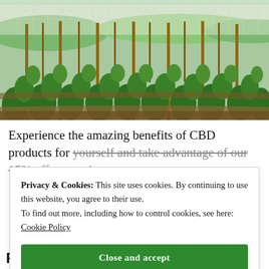[Figure (photo): Aerial/ground-level photo of a hemp/cannabis farm with rows of green plants under a greenhouse netting structure with wooden poles]
Experience the amazing benefits of CBD products for yourself and take advantage of our 15% off promotion
Privacy & Cookies: This site uses cookies. By continuing to use this website, you agree to their use. To find out more, including how to control cookies, see here: Cookie Policy
Close and accept
PRESTON15